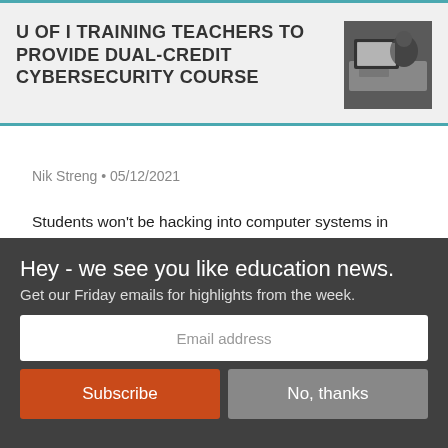U OF I TRAINING TEACHERS TO PROVIDE DUAL-CREDIT CYBERSECURITY COURSE
[Figure (photo): Overhead view of a person working at a computer workstation]
Nik Streng • 05/12/2021
Students won't be hacking into computer systems in CYB 110, but they will be getting an introduction into what cybersecurity means.
Hey - we see you like education news.
Get our Friday emails for highlights from the week.
Email address
Subscribe
No, thanks